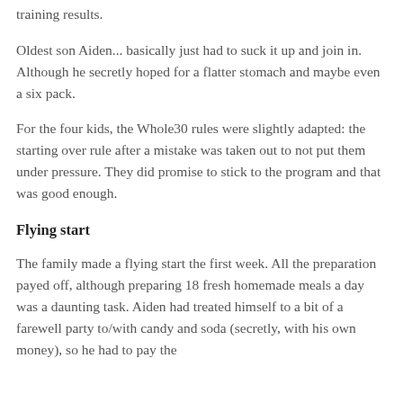training results.
Oldest son Aiden... basically just had to suck it up and join in. Although he secretly hoped for a flatter stomach and maybe even a six pack.
For the four kids, the Whole30 rules were slightly adapted: the starting over rule after a mistake was taken out to not put them under pressure. They did promise to stick to the program and that was good enough.
Flying start
The family made a flying start the first week. All the preparation payed off, although preparing 18 fresh homemade meals a day was a daunting task. Aiden had treated himself to a bit of a farewell party to/with candy and soda (secretly, with his own money), so he had to pay the